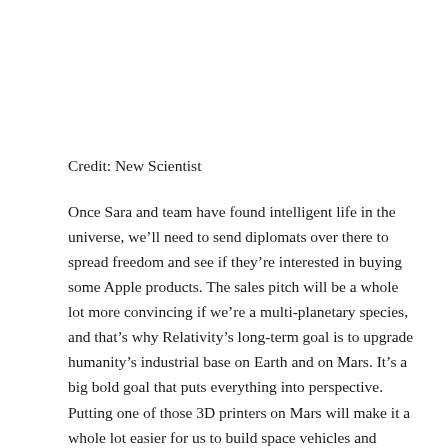Credit: New Scientist
Once Sara and team have found intelligent life in the universe, we'll need to send diplomats over there to spread freedom and see if they're interested in buying some Apple products. The sales pitch will be a whole lot more convincing if we're a multi-planetary species, and that's why Relativity's long-term goal is to upgrade humanity's industrial base on Earth and on Mars. It's a big bold goal that puts everything into perspective. Putting one of those 3D printers on Mars will make it a whole lot easier for us to build space vehicles and further expand throughout our